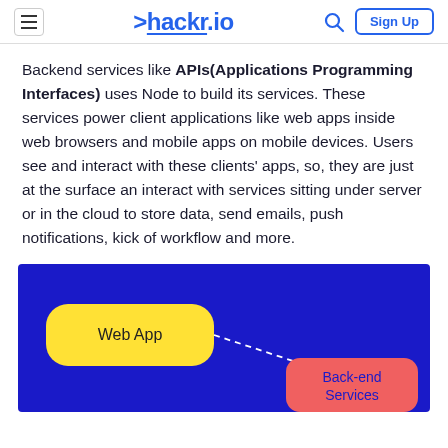>hackr.io | Sign Up
Backend services like APIs(Applications Programming Interfaces) uses Node to build its services. These services power client applications like web apps inside web browsers and mobile apps on mobile devices. Users see and interact with these clients' apps, so, they are just at the surface an interact with services sitting under server or in the cloud to store data, send emails, push notifications, kick of workflow and more.
[Figure (infographic): Diagram on dark blue background showing a yellow rounded rectangle labeled 'Web App' connected by a dashed line/arrow to a red/salmon rounded rectangle labeled 'Back-end Services']